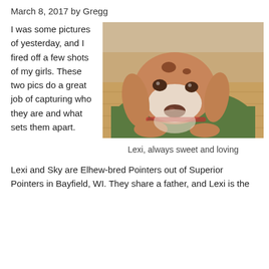March 8, 2017 by Gregg
I was some pictures of yesterday, and I fired off a few shots of my girls. These two pics do a great job of capturing who they are and what sets them apart.
[Figure (photo): Close-up photo of a brown and white spotted dog (Lexi) resting its head on a green surface, looking up at the camera with soulful eyes. Wooden floor visible in background.]
Lexi, always sweet and loving
Lexi and Sky are Elhew-bred Pointers out of Superior Pointers in Bayfield, WI. They share a father, and Lexi is the